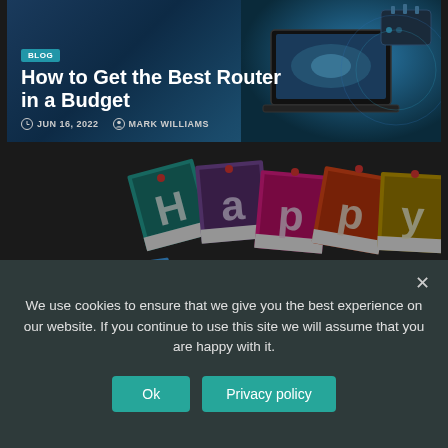[Figure (screenshot): Blog card with dark blue background showing a laptop and router image, with BLOG badge, title 'How to Get the Best Router in a Budget', date JUN 16, 2022 and author MARK WILLIAMS]
[Figure (screenshot): Helpful Tips card with colorful 'Happy Birthday' polaroid photos background, with HELPFUL TIPS badge, title 'How To Calculate Your Birth Date In 2022?', date MAY 20, 2022 and author MARK WILLIAMS]
We use cookies to ensure that we give you the best experience on our website. If you continue to use this site we will assume that you are happy with it.
Ok
Privacy policy